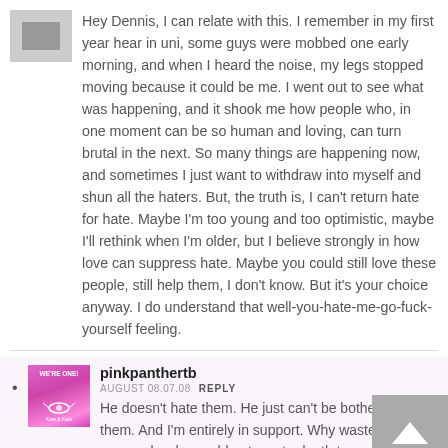[Figure (photo): Gray avatar/profile image placeholder at top left]
Hey Dennis, I can relate with this. I remember in my first year hear in uni, some guys were mobbed one early morning, and when I heard the noise, my legs stopped moving because it could be me. I went out to see what was happening, and it shook me how people who, in one moment can be so human and loving, can turn brutal in the next. So many things are happening now, and sometimes I just want to withdraw into myself and shun all the haters. But, the truth is, I can't return hate for hate. Maybe I'm too young and too optimistic, maybe I'll rethink when I'm older, but I believe strongly in how love can suppress hate. Maybe you could still love these people, still help them, I don't know. But it's your choice anyway. I do understand that well-you-hate-me-go-fuck-yourself feeling.
[Figure (photo): Pink We're One avatar/profile image for pinkpanthertb]
pinkpanthertb
AUGUST 08.07.08  REPLY
He doesn't hate them. He just can't be bothered with them. And I'm entirely in support. Why waste kindness on people who could put you to death tomorrow.
[Figure (other): Scroll to top button with upward arrow, gray background]